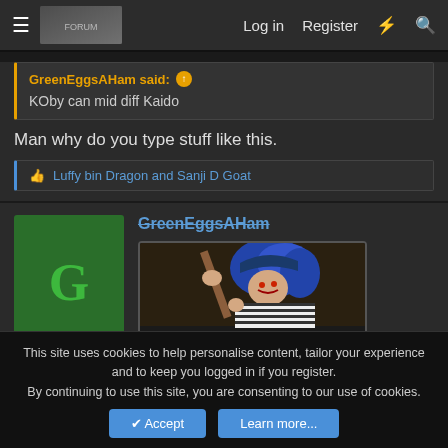≡  [logo]  Log in  Register  ⚡  🔍
GreenEggsAHam said: ↑
KOby can mid diff Kaido
Man why do you type stuff like this.
👍 Luffy bin Dragon and Sanji D Goat
GreenEggsAHam
[Figure (illustration): Green avatar with letter G, and a banned anime character image with the word BANNED in small caps]
This site uses cookies to help personalise content, tailor your experience and to keep you logged in if you register.
By continuing to use this site, you are consenting to our use of cookies.
Accept  Learn more...